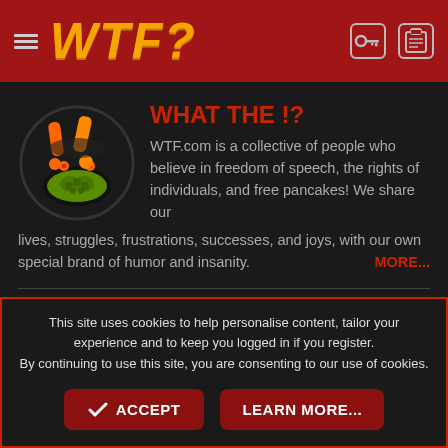WTF?
WHAT THE !?
[Figure (logo): WTF.com logo: circular black badge with orange exclamation marks and green brain graphic]
WTF.com is a collective of people who believe in freedom of speech, the rights of individuals, and free pancakes! We share our lives, struggles, frustrations, successes, and joys, with our own special brand of humor and insanity.  MORE...
[Figure (infographic): Social media icon buttons: Facebook (blue f), Twitter (blue bird), YouTube (grey You), and a grey search/other icon]
This site uses cookies to help personalise content, tailor your experience and to keep you logged in if you register.
By continuing to use this site, you are consenting to our use of cookies.